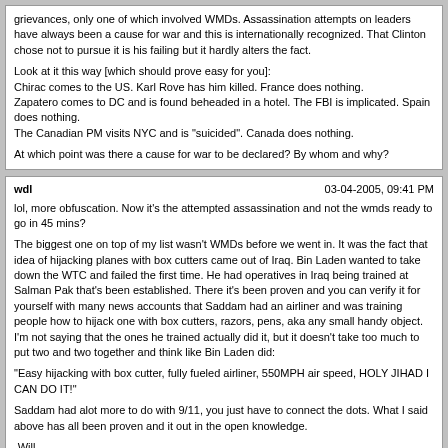grievances, only one of which involved WMDs. Assassination attempts on leaders have always been a cause for war and this is internationally recognized. That Clinton chose not to pursue it is his failing but it hardly alters the fact.

Look at it this way [which should prove easy for you]:
Chirac comes to the US. Karl Rove has him killed. France does nothing.
Zapatero comes to DC and is found beheaded in a hotel. The FBI is implicated. Spain does nothing.
The Canadian PM visits NYC and is "suicided". Canada does nothing.

At which point was there a cause for war to be declared? By whom and why?
wdl
03-04-2005, 09:41 PM
lol, more obfuscation. Now it's the attempted assassination and not the wmds ready to go in 45 mins?

The biggest one on top of my list wasn't WMDs before we went in. It was the fact that idea of hijacking planes with box cutters came out of Iraq. Bin Laden wanted to take down the WTC and failed the first time. He had operatives in Iraq being trained at Salman Pak that's been established. There it's been proven and you can verify it for yourself with many news accounts that Saddam had an airliner and was training people how to hijack one with box cutters, razors, pens, aka any small handy object. I'm not saying that the ones he trained actually did it, but it doesn't take too much to put two and two together and think like Bin Laden did:

"Easy hijacking with box cutter, fully fueled airliner, 550MPH air speed, HOLY JIHAD I CAN DO IT!"

Saddam had alot more to do with 9/11, you just have to connect the dots. What I said above has all been proven and it out in the open knowledge.

-Will